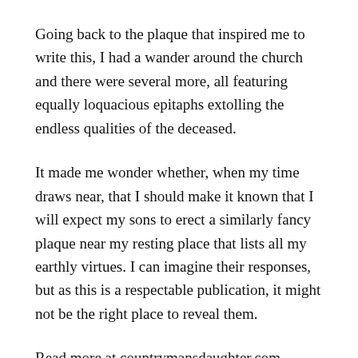Going back to the plaque that inspired me to write this, I had a wander around the church and there were several more, all featuring equally loquacious epitaphs extolling the endless qualities of the deceased.
It made me wonder whether, when my time draws near, that I should make it known that I will expect my sons to erect a similarly fancy plaque near my resting place that lists all my earthly virtues. I can imagine their responses, but as this is a respectable publication, it might not be the right place to reveal them.
Read more at countrymansdaughter.com.